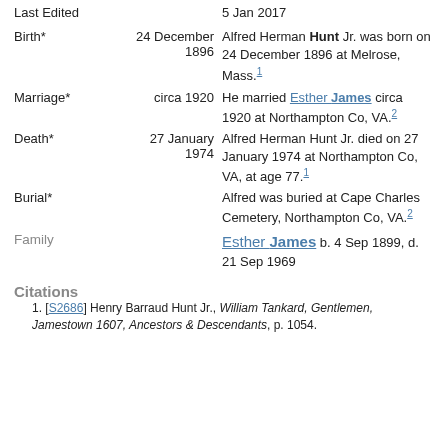Last Edited	5 Jan 2017
Birth*	24 December 1896	Alfred Herman Hunt Jr. was born on 24 December 1896 at Melrose, Mass.1
Marriage*	circa 1920	He married Esther James circa 1920 at Northampton Co, VA.2
Death*	27 January 1974	Alfred Herman Hunt Jr. died on 27 January 1974 at Northampton Co, VA, at age 77.1
Burial*		Alfred was buried at Cape Charles Cemetery, Northampton Co, VA.2
Family		Esther James b. 4 Sep 1899, d. 21 Sep 1969
Citations
1. [S2686] Henry Barraud Hunt Jr., William Tankard, Gentlemen, Jamestown 1607, Ancestors & Descendants, p. 1054.